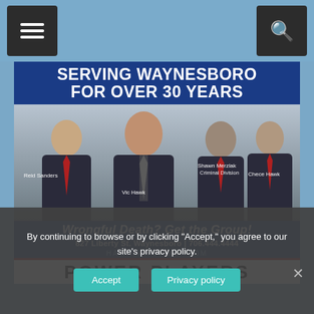[Figure (screenshot): Website screenshot of Hawk Law Group showing navigation bar with hamburger menu and search icons on a steel blue background]
[Figure (photo): Advertisement for Hawk Law Group featuring four attorneys in dark suits with red ties. Text reads 'SERVING WAYNESBORO FOR OVER 30 YEARS'. Names labeled: Reid Sanders, Vic Hawk, Shawn Merzlak (Criminal Division), Chece Hawk. Tagline: 'Wrongful Death? Get the Group!' Address: 827 Liberty St. Waynesboro | 706.444.4444. Website: HAWKLAWGROUP.COM]
By continuing to browse or by clicking "Accept," you agree to our site's privacy policy.
Accept
Privacy policy
POWER PLAYERS